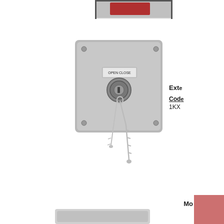[Figure (photo): Partial view of a device at the top of the page, cropped at the top edge]
[Figure (photo): External key switch with gray metal housing, key lock switch labeled OPEN CLOSE, with two keys hanging from the lock]
Exte
Code
1KX
[Figure (photo): Pink/red colored square block element on the right side]
Mo
[Figure (photo): Partial view of a gray device at the bottom of the page]